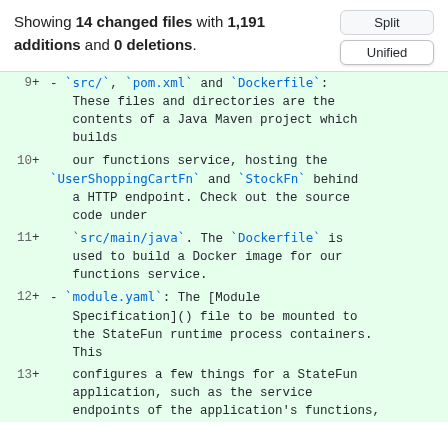Showing 14 changed files with 1,191 additions and 0 deletions.
[Figure (screenshot): Split/Unified toggle buttons UI]
9  +  - `src/`, `pom.xml` and `Dockerfile`: These files and directories are the contents of a Java Maven project which builds
10  +     our functions service, hosting the `UserShoppingCartFn` and `StockFn` behind a HTTP endpoint. Check out the source code under
11  +     `src/main/java`. The `Dockerfile` is used to build a Docker image for our functions service.
12  +  - `module.yaml`: The [Module Specification]() file to be mounted to the StateFun runtime process containers. This
13  +     configures a few things for a StateFun application, such as the service endpoints of the application's functions,